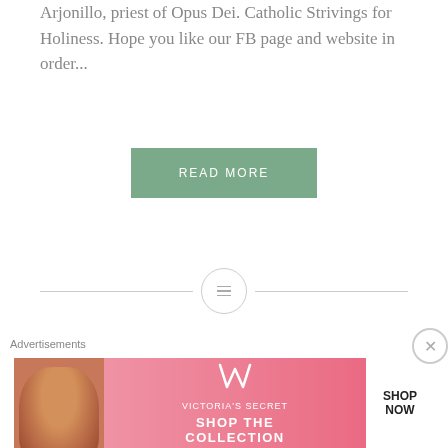Arjonillo, priest of Opus Dei. Catholic Strivings for Holiness. Hope you like our FB page and website in order...
[Figure (other): Green 'READ MORE' button]
[Figure (other): Horizontal divider with circle icon containing three lines (menu/list icon)]
POPE FRANCIS: Read a Gospel passage, a Bible passage everyday. The Kingdom of God requires our humble collaboration
Advertisements
[Figure (other): Victoria's Secret advertisement banner with model photo, VS logo, 'SHOP THE COLLECTION' text, and 'SHOP NOW' button]